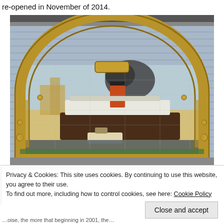re-opened in November of 2014.
[Figure (photo): A decorative arched tile mosaic/mural mounted on a wall, depicting a large ocean liner ship in a harbor with tugboats, smoke, buildings, and ornate decorative border framing. The arch frame is gold/yellowish with ornamental circular and floral motifs.]
Privacy & Cookies: This site uses cookies. By continuing to use this website, you agree to their use.
To find out more, including how to control cookies, see here: Cookie Policy
Close and accept
…oise, the more that beginning in 2001, the…